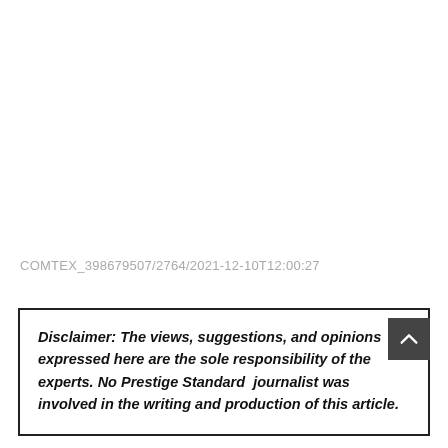COMTEX_398679507/2764/2021-12-10T12:00:27
Disclaimer: The views, suggestions, and opinions expressed here are the sole responsibility of the experts. No Prestige Standard journalist was involved in the writing and production of this article.